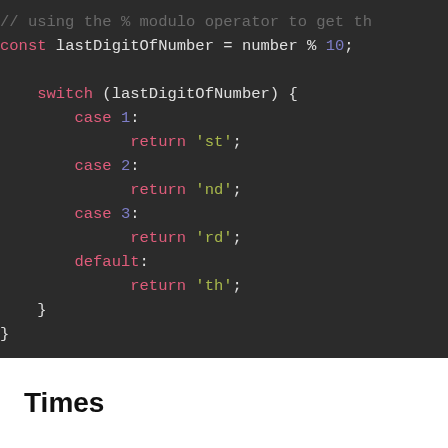[Figure (screenshot): Code editor screenshot showing JavaScript switch statement with cases for 1 ('st'), 2 ('nd'), 3 ('rd'), and default ('th'), plus a comment and const declaration using modulo operator.]
Times